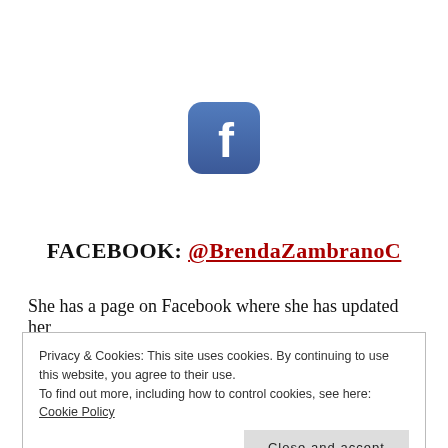[Figure (logo): Facebook app icon — rounded square with blue gradient background and white 'f' letter logo]
FACEBOOK: @BrendaZambranoC
She has a page on Facebook where she has updated her
Privacy & Cookies: This site uses cookies. By continuing to use this website, you agree to their use.
To find out more, including how to control cookies, see here: Cookie Policy
Close and accept